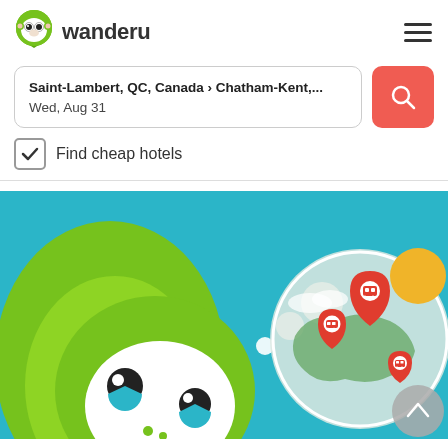[Figure (logo): Wanderu monkey logo - green shield with white monkey face]
wanderu
[Figure (infographic): Hamburger menu icon - three horizontal lines]
Saint-Lambert, QC, Canada › Chatham-Kent,...
Wed, Aug 31
[Figure (infographic): Search button with magnifying glass icon on red/coral background]
Find cheap hotels
[Figure (illustration): Wanderu promotional banner with teal background, green monkey mascot on left, thought bubble with circles, and map globe with red bus location pins on right]